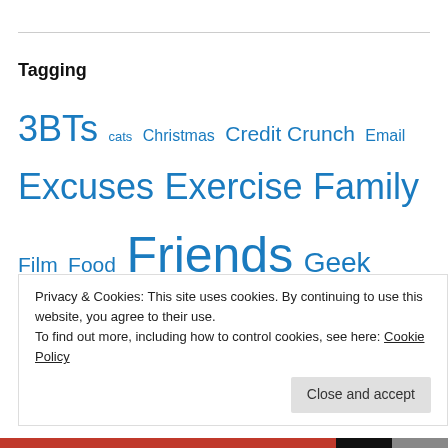Tagging
3BTs cats Christmas Credit Crunch Email Excuses Exercise Family Film Food Friends Geek General Gig Golf marketing Me Music New Pubs Rant Recipe Scotland Sister surgery Twitter Uncategorized Weight Watchers Wii Work
Privacy & Cookies: This site uses cookies. By continuing to use this website, you agree to their use.
To find out more, including how to control cookies, see here: Cookie Policy